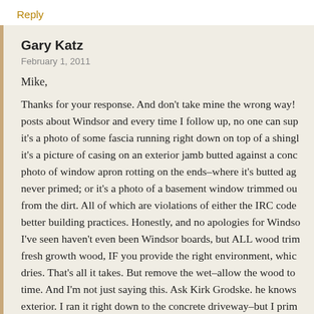Reply
Gary Katz
February 1, 2011
Mike,
Thanks for your response. And don't take mine the wrong way! posts about Windsor and every time I follow up, no one can sup it's a photo of some fascia running right down on top of a shingl it's a picture of casing on an exterior jamb butted against a conc photo of window apron rotting on the ends–where it's butted ag never primed; or it's a photo of a basement window trimmed ou from the dirt. All of which are violations of either the IRC code better building practices. Honestly, and no apologies for Windso I've seen haven't even been Windsor boards, but ALL wood trim fresh growth wood, IF you provide the right environment, whic dries. That's all it takes. But remove the wet–allow the wood to time. And I'm not just saying this. Ask Kirk Grodske. he knows exterior. I ran it right down to the concrete driveway–but I prim right down to the dirt, but I installed it on top of a rainscreen. I v my shop with it, siding, trim, fascia, everything. It looks just as